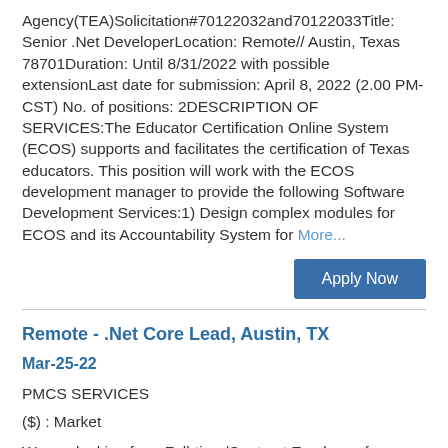Agency(TEA)Solicitation#70122032and70122033Title: Senior .Net DeveloperLocation: Remote// Austin, Texas 78701Duration: Until 8/31/2022 with possible extensionLast date for submission: April 8, 2022 (2.00 PM-CST) No. of positions: 2DESCRIPTION OF SERVICES:The Educator Certification Online System (ECOS) supports and facilitates the certification of Texas educators. This position will work with the ECOS development manager to provide the following Software Development Services:1) Design complex modules for ECOS and its Accountability System for More...
Apply Now
Remote - .Net Core Lead, Austin, TX
Mar-25-22
PMCS SERVICES
($) : Market
We are looking for a Full-time/Contract Employee for a .Net Core Lead The Educator Certification Online